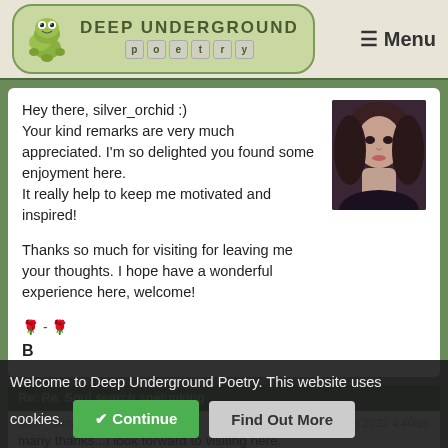Deep Underground Poetry — Menu
Hey there, silver_orchid :)
Your kind remarks are very much appreciated. I'm so delighted you found some enjoyment here.
It really help to keep me motivated and inspired!

Thanks so much for visiting for leaving me your thoughts. I hope have a wonderful experience here, welcome!

🌹 - 🌹
B
[Figure (photo): Profile photo of a woman with dark hair, facing slightly sideways, dark background]
Re: Re. Soul search spelunking
silver_orchid
30th Jan 2022 4:40am
many thanks...I look forward to visiting here.
Welcome to Deep Underground Poetry. This website uses cookies.
Continue
Find Out More